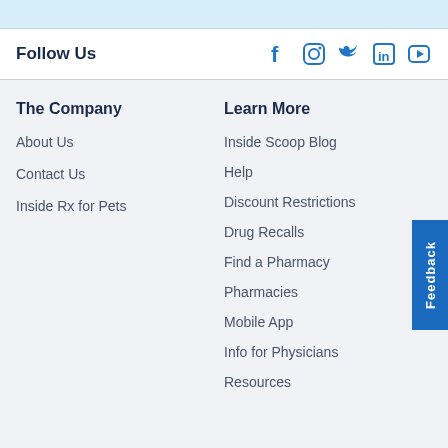[Figure (other): Top light blue bar / header strip]
Follow Us
[Figure (other): Social media icons: Facebook, Instagram, Twitter, LinkedIn, YouTube]
The Company
About Us
Contact Us
Inside Rx for Pets
Learn More
Inside Scoop Blog
Help
Discount Restrictions
Drug Recalls
Find a Pharmacy
Pharmacies
Mobile App
Info for Physicians
Resources
[Figure (other): Blue Feedback button on right side]